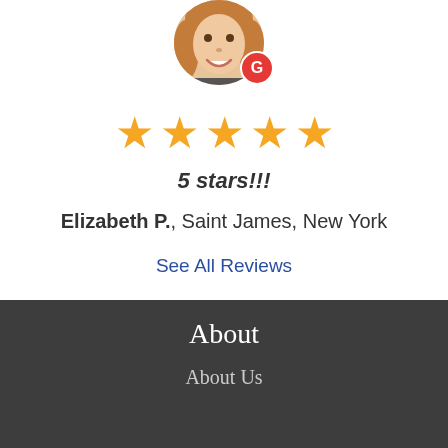[Figure (photo): Circular avatar photo of a young woman with reddish-blonde hair smiling, with a red Google 'G' badge overlay in bottom-right]
[Figure (other): Five gold/yellow star rating icons]
5 stars!!!
Elizabeth P., Saint James, New York
See All Reviews
About
About Us